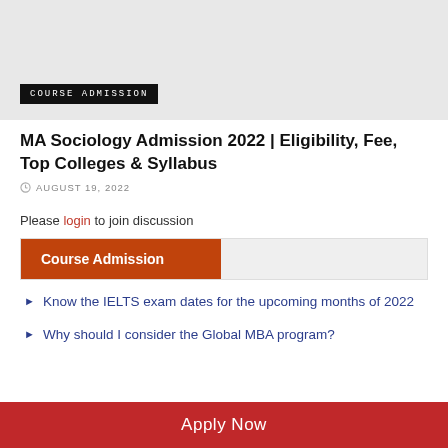[Figure (photo): Light gray banner image area with a dark badge label reading COURSE ADMISSION in monospace uppercase text.]
MA Sociology Admission 2022 | Eligibility, Fee, Top Colleges & Syllabus
AUGUST 19, 2022
Please login to join discussion
Course Admission
Know the IELTS exam dates for the upcoming months of 2022
Why should I consider the Global MBA program?
Apply Now